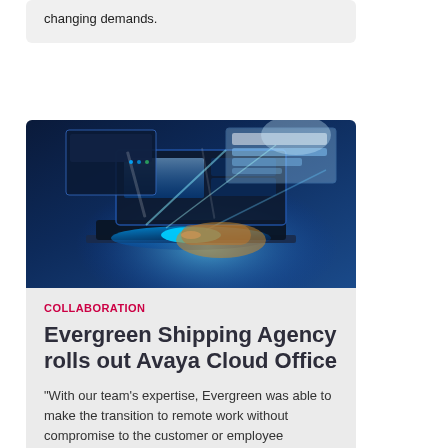changing demands.
[Figure (photo): Person using a laptop with holographic digital interface screens floating above it, glowing blue tech imagery]
COLLABORATION
Evergreen Shipping Agency rolls out Avaya Cloud Office
"With our team’s expertise, Evergreen was able to make the transition to remote work without compromise to the customer or employee experience."